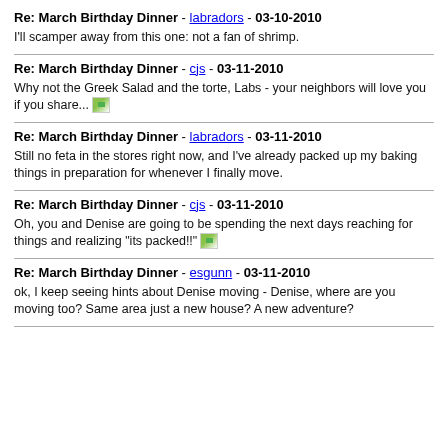Re: March Birthday Dinner - labradors - 03-10-2010
I'll scamper away from this one: not a fan of shrimp.
Re: March Birthday Dinner - cjs - 03-11-2010
Why not the Greek Salad and the torte, Labs - your neighbors will love you if you share... [image]
Re: March Birthday Dinner - labradors - 03-11-2010
Still no feta in the stores right now, and I've already packed up my baking things in preparation for whenever I finally move.
Re: March Birthday Dinner - cjs - 03-11-2010
Oh, you and Denise are going to be spending the next days reaching for things and realizing "its packed!!" [image]
Re: March Birthday Dinner - esgunn - 03-11-2010
ok, I keep seeing hints about Denise moving - Denise, where are you moving too? Same area just a new house? A new adventure?